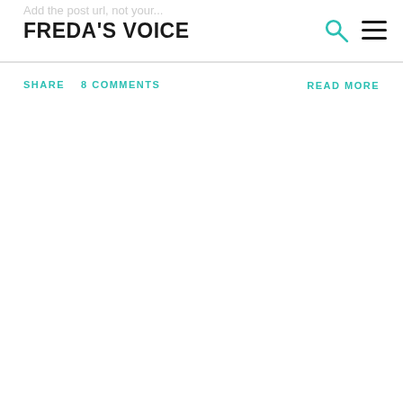FREDA'S VOICE
SHARE   8 COMMENTS   READ MORE